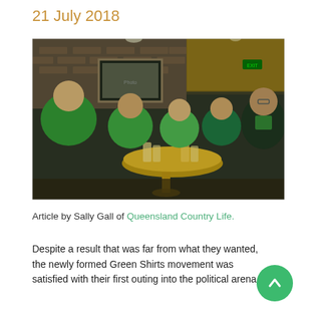21 July 2018
[Figure (photo): Group of people mostly wearing green shirts seated around a round wooden table at a pub/bar, raising glasses, with brick wall and framed picture in background.]
Article by Sally Gall of Queensland Country Life.
Despite a result that was far from what they wanted, the newly formed Green Shirts movement was satisfied with their first outing into the political arena.